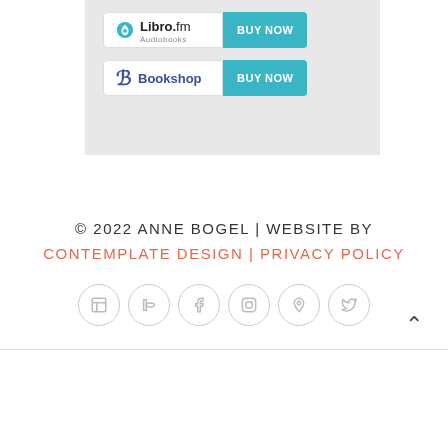[Figure (screenshot): Libro.fm Audiobooks BUY NOW button widget]
[Figure (screenshot): Bookshop BUY NOW button widget]
© 2022 ANNE BOGEL | WEBSITE BY CONTEMPLATE DESIGN | PRIVACY POLICY
[Figure (infographic): Social media icon circles: goodreads, bookshop, facebook, instagram, pinterest, twitter]
Back to top arrow